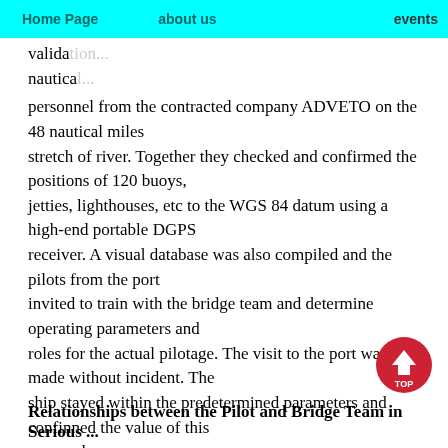Home Page | about us | events
validation... nautical... personnel from the contracted company ADVETO on the 48 nautical miles stretch of river. Together they checked and confirmed the positions of 120 buoys, jetties, lighthouses, etc to the WGS 84 datum using a high-end portable DGPS receiver. A visual database was also compiled and the pilots from the port invited to train with the bridge team and determine operating parameters and roles for the actual pilotage. The visit to the port was made without incident. The ship stayed within the predetermined parameters and confinned the value of this approach.
[Figure (other): Red circular TOP button with upward arrow]
Relationships between the Pilot and Bridge Team in Serious ...